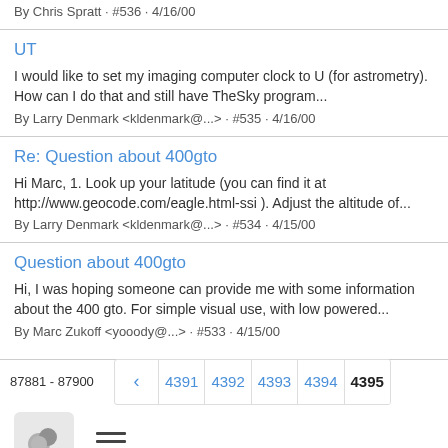By Chris Spratt · #536 · 4/16/00
UT
I would like to set my imaging computer clock to U (for astrometry). How can I do that and still have TheSky program...
By Larry Denmark <kldenmark@...> · #535 · 4/16/00
Re: Question about 400gto
Hi Marc, 1. Look up your latitude (you can find it at http://www.geocode.com/eagle.html-ssi ). Adjust the altitude of...
By Larry Denmark <kldenmark@...> · #534 · 4/15/00
Question about 400gto
Hi, I was hoping someone can provide me with some information about the 400 gto. For simple visual use, with low powered...
By Marc Zukoff <yooody@...> · #533 · 4/15/00
87881 - 87900  < 4391 4392 4393 4394 4395